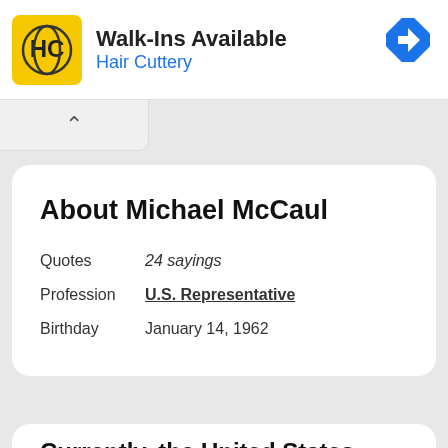[Figure (infographic): Hair Cuttery advertisement banner with yellow HC logo, text 'Walk-Ins Available' and 'Hair Cuttery' in blue, and a blue diamond navigation icon on the right.]
About Michael McCaul
Quotes    24 sayings
Profession    U.S. Representative
Birthday    January 14, 1962
Currently, the United States